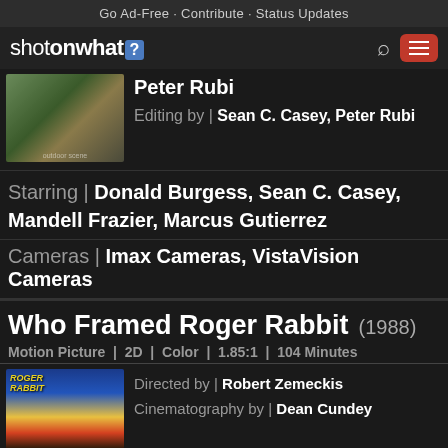Go Ad-Free - Contribute - Status Updates
[Figure (screenshot): ShotOnWhat? navigation bar with logo, search icon, and hamburger menu button]
Peter Rubi
Editing by | Sean C. Casey, Peter Rubi
Starring | Donald Burgess, Sean C. Casey, Mandell Frazier, Marcus Gutierrez
Cameras | Imax Cameras, VistaVision Cameras
Who Framed Roger Rabbit (1988)
Motion Picture | 2D | Color | 1.85:1 | 104 Minutes
Directed by | Robert Zemeckis
Cinematography by | Dean Cundey